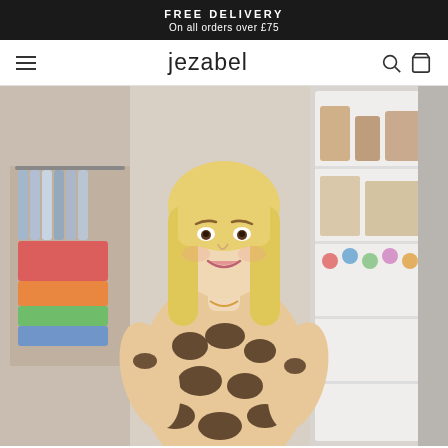FREE DELIVERY
On all orders over £75
jezabel
[Figure (photo): A smiling blonde woman wearing a leopard print dress standing in a boutique clothing store with shelves of accessories and racks of clothes visible in the background.]